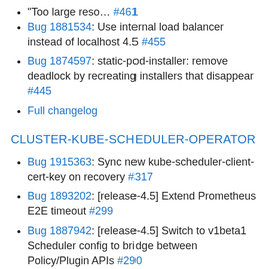"Too large reso… #461
Bug 1881534: Use internal load balancer instead of localhost 4.5 #455
Bug 1874597: static-pod-installer: remove deadlock by recreating installers that disappear #445
Full changelog
CLUSTER-KUBE-SCHEDULER-OPERATOR
Bug 1915363: Sync new kube-scheduler-client-cert-key on recovery #317
Bug 1893202: [release-4.5] Extend Prometheus E2E timeout #299
Bug 1887942: [release-4.5] Switch to v1beta1 Scheduler config to bridge between Policy/Plugin APIs #290
Bug 1880326: fix bug in reflector not recovering from "Too large reso… #287
Bug 1874597: static-pod-installer: remove deadlock